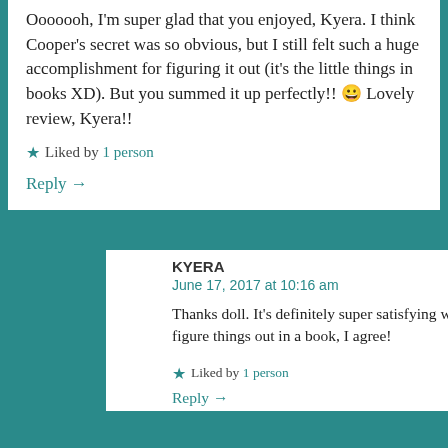Ooooooh, I'm super glad that you enjoyed, Kyera. I think Cooper's secret was so obvious, but I still felt such a huge accomplishment for figuring it out (it's the little things in books XD). But you summed it up perfectly!! 😀 Lovely review, Kyera!!
Liked by 1 person
Reply →
KYERA
June 17, 2017 at 10:16 am
Thanks doll. It's definitely super satisfying when you figure things out in a book, I agree!
Liked by 1 person
Reply →